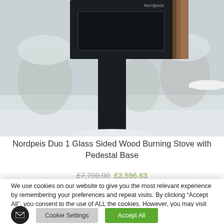[Figure (photo): Nordpeis Duo 1 glass-sided wood burning stove with pedestal base, shown against a snowy outdoor background. The stove has a dark (near black) body with a cylindrical pedestal, wood accent panel on the side, and a white circular table visible at top right.]
Nordpeis Duo 1 Glass Sided Wood Burning Stove with Pedestal Base
£7,700.00 £3,596.63
We use cookies on our website to give you the most relevant experience by remembering your preferences and repeat visits. By clicking “Accept All”, you consent to the use of ALL the cookies. However, you may visit "Cookie Settings" to provide a controlled consent.
Cookie Settings
Accept All